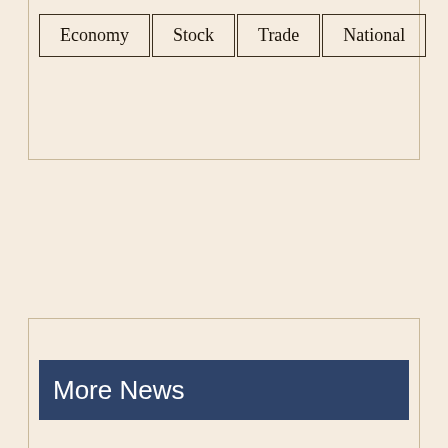Economy | Stock | Trade | National
More News